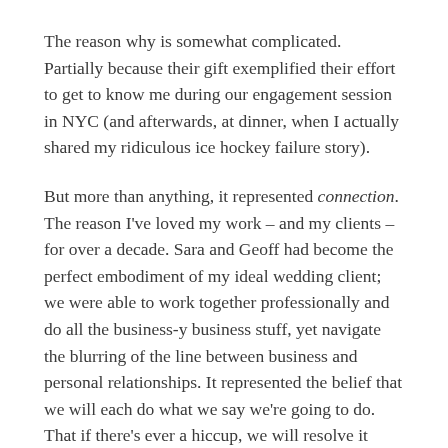The reason why is somewhat complicated. Partially because their gift exemplified their effort to get to know me during our engagement session in NYC (and afterwards, at dinner, when I actually shared my ridiculous ice hockey failure story).
But more than anything, it represented connection. The reason I've loved my work – and my clients – for over a decade. Sara and Geoff had become the perfect embodiment of my ideal wedding client; we were able to work together professionally and do all the business-y business stuff, yet navigate the blurring of the line between business and personal relationships. It represented the belief that we will each do what we say we're going to do. That if there's ever a hiccup, we will resolve it swiftly and with integrity. And that we'll have so much f'ing fun along the way that we will transcend the world of contracts and camera settings and share in joyous moments that we eventually hang